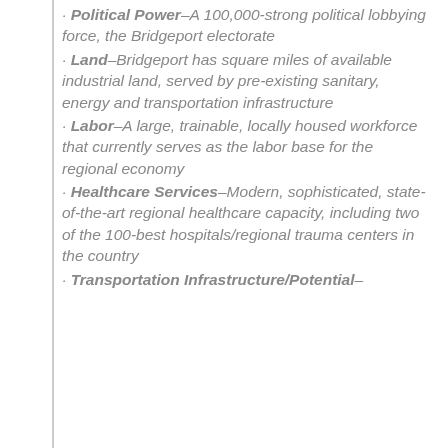· Political Power–A 100,000-strong political lobbying force, the Bridgeport electorate
· Land–Bridgeport has square miles of available industrial land, served by pre-existing sanitary, energy and transportation infrastructure
· Labor–A large, trainable, locally housed workforce that currently serves as the labor base for the regional economy
· Healthcare Services–Modern, sophisticated, state-of-the-art regional healthcare capacity, including two of the 100-best hospitals/regional trauma centers in the country
· Transportation Infrastructure/Potential–